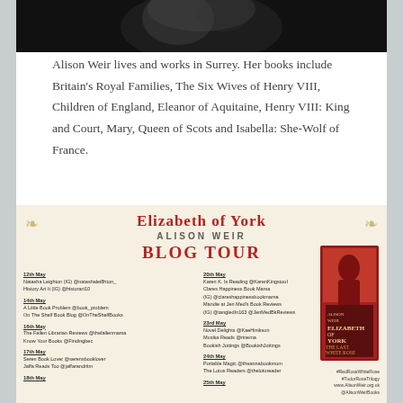[Figure (photo): Black and white photo of Alison Weir, top portion visible at the top of the page]
Alison Weir lives and works in Surrey. Her books include Britain's Royal Families, The Six Wives of Henry VIII, Children of England, Eleanor of Aquitaine, Henry VIII: King and Court, Mary, Queen of Scots and Isabella: She-Wolf of France.
[Figure (infographic): Elizabeth of York Alison Weir Blog Tour promotional banner listing tour dates and blogger names, with book cover image of 'Elizabeth of York: The Last White Rose' on the right, and hashtags #RedRoseWhiteRose #TudorRoseTrilogy www.AlisonWeir.org.uk @AlisonWeirBooks at bottom right]